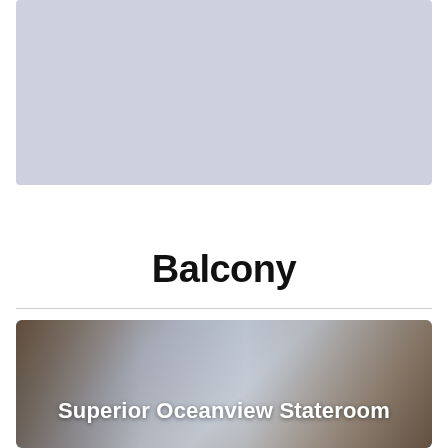[Figure (photo): Top photo placeholder showing a light blue-gray rectangle representing a cabin or stateroom image]
Balcony
[Figure (photo): Photo of a ship corridor or Superior Oceanview Stateroom interior with text overlay reading 'Superior Oceanview Stateroom']